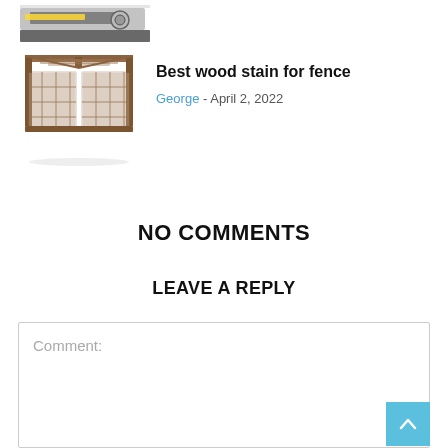[Figure (photo): Partial view of a tool/saw machine, cropped at the top of the page]
Best wood stain for fence
George - April 2, 2022
[Figure (photo): Wooden fence/gate with pergola-style top, decorative lattice panels]
NO COMMENTS
LEAVE A REPLY
Comment: